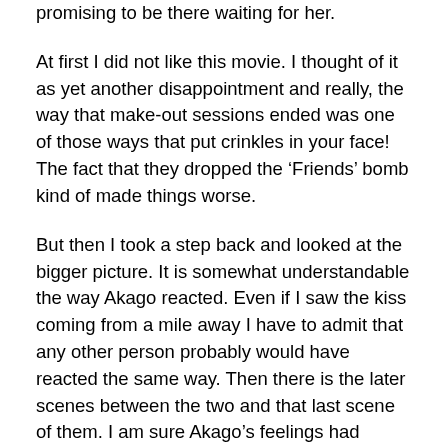promising to be there waiting for her.
At first I did not like this movie. I thought of it as yet another disappointment and really, the way that make-out sessions ended was one of those ways that put crinkles in your face! The fact that they dropped the ‘Friends’ bomb kind of made things worse.
But then I took a step back and looked at the bigger picture. It is somewhat understandable the way Akago reacted. Even if I saw the kiss coming from a mile away I have to admit that any other person probably would have reacted the same way. Then there is the later scenes between the two and that last scene of them. I am sure Akago’s feelings had changed and that had Yuriko not have had to go, she would have stayed and if she did, things would have been very different between them. It